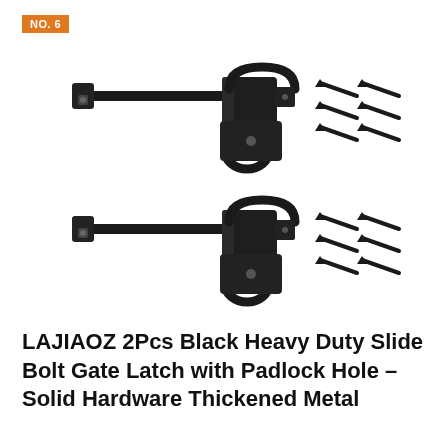NO. 6
[Figure (photo): Two black heavy duty slide bolt gate latches with padlock holes, each shown with 4 accompanying black screws arranged beside them. The latches are made of solid metal with a T-bar slide and loop keeper bracket.]
LAJIAOZ 2Pcs Black Heavy Duty Slide Bolt Gate Latch with Padlock Hole – Solid Hardware Thickened Metal